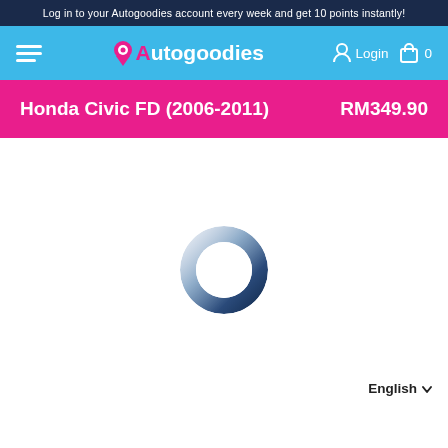Log in to your Autogoodies account every week and get 10 points instantly!
[Figure (screenshot): Autogoodies website navigation bar with hamburger menu, logo, login and cart icons on a light blue background]
Honda Civic FD (2006-2011)  RM349.90
[Figure (illustration): Loading spinner - a circular ring with gradient from light grey to dark navy blue, indicating page content is loading]
English